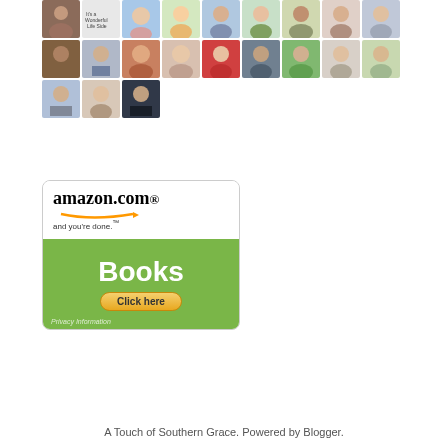[Figure (other): Grid of follower avatar thumbnails arranged in 3 rows of 9 photos each, plus a partial 4th row with 3 photos]
[Figure (other): Blue Follow button]
[Figure (other): Amazon.com Books advertisement with green background, showing amazon.com logo, Books text, and Click here button]
A Touch of Southern Grace. Powered by Blogger.